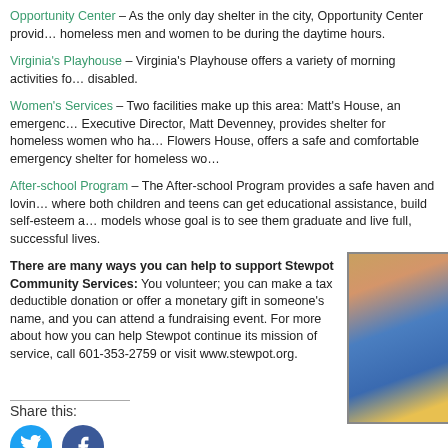Opportunity Center – As the only day shelter in the city, Opportunity Center provides homeless men and women to be during the daytime hours.
Virginia's Playhouse – Virginia's Playhouse offers a variety of morning activities for disabled.
Women's Services – Two facilities make up this area: Matt's House, an emergency Executive Director, Matt Devenney, provides shelter for homeless women who have Flowers House, offers a safe and comfortable emergency shelter for homeless women.
After-school Program – The After-school Program provides a safe haven and loving where both children and teens can get educational assistance, build self-esteem and models whose goal is to see them graduate and live full, successful lives.
There are many ways you can help to support Stewpot Community Services: You volunteer; you can make a tax deductible donation or offer a monetary gift in someone's name, and you can attend a fundraising event. For more about how you can help Stewpot continue its mission of service, call 601-353-2759 or visit www.stewpot.org.
[Figure (photo): Photo of two people embracing, one wearing a blue garment, partial view cropped]
Share this:
[Figure (infographic): Social media icons: Twitter (blue circle) and Facebook (dark blue circle)]